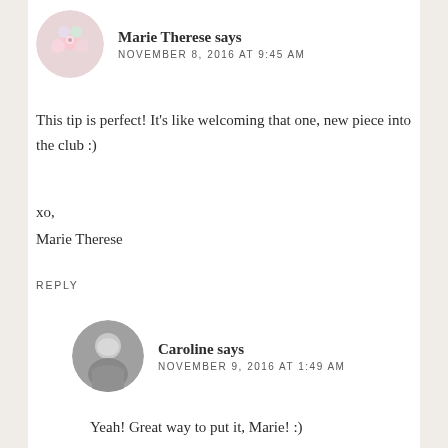Marie Therese says
NOVEMBER 8, 2016 AT 9:45 AM
This tip is perfect! It's like welcoming that one, new piece into the club :)
xo,
Marie Therese
REPLY
Caroline says
NOVEMBER 9, 2016 AT 1:49 AM
Yeah! Great way to put it, Marie! :)
REPLY